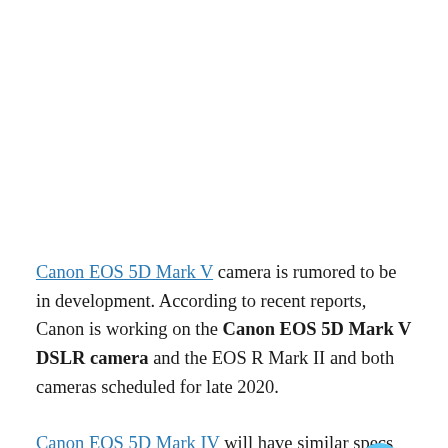Canon EOS 5D Mark V camera is rumored to be in development. According to recent reports, Canon is working on the Canon EOS 5D Mark V DSLR camera and the EOS R Mark II and both cameras scheduled for late 2020.
Canon EOS 5D Mark IV will have similar specs as upcoming Canon EOS R Mark II. Rumors also